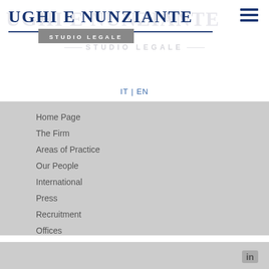[Figure (logo): Ughi e Nunziante Studio Legale law firm logo with dark blue serif text and grey 'STUDIO LEGALE' banner]
IT | EN
Home Page
The Firm
Areas of Practice
Our People
International
Press
Recruitment
Offices
© 2016 Ughi e Nunziante Law Firm VAT ID: IT01999341009
Privacy Policy | Equality and Diversity Policy